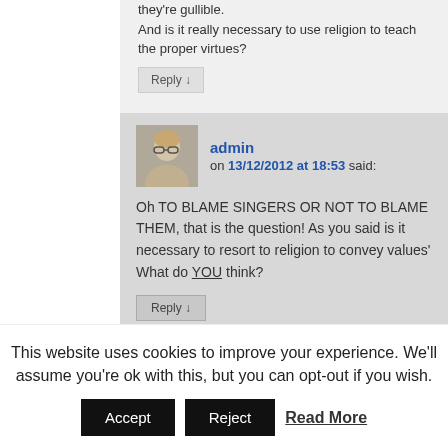they're gullible.
And is it really necessary to use religion to teach the proper virtues?
Reply ↓
admin
on 13/12/2012 at 18:53 said:
Oh TO BLAME SINGERS OR NOT TO BLAME THEM, that is the question! As you said is it necessary to resort to religion to convey values' What do YOU think?
Reply ↓
This website uses cookies to improve your experience. We'll assume you're ok with this, but you can opt-out if you wish.
Accept
Reject
Read More